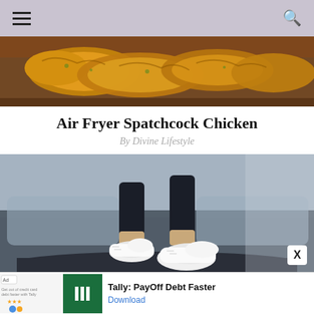Navigation header with hamburger menu and search icon
[Figure (photo): Close-up photo of cooked chicken pieces on a wooden board, golden brown color]
Air Fryer Spatchcock Chicken
By Divine Lifestyle
[Figure (photo): Low angle photo of person walking on a treadmill wearing white sneakers and black pants]
Ad | Tally: PayOff Debt Faster | Download